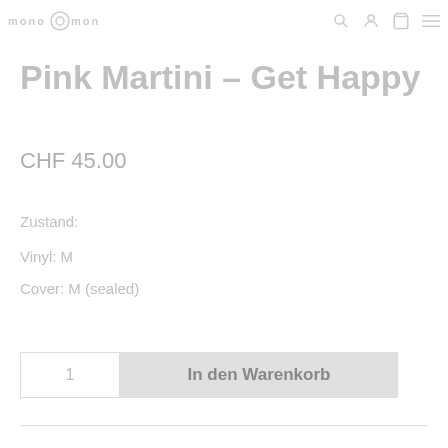mono mono [logo] mono mono
Pink Martini – Get Happy
CHF 45.00
Zustand:
Vinyl: M
Cover: M (sealed)
1   In den Warenkorb